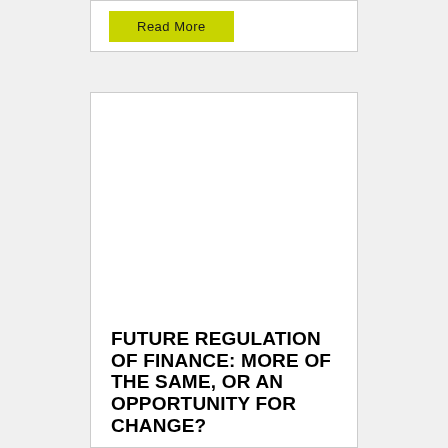[Figure (other): Read More button on a white card with yellow-green background button]
FUTURE REGULATION OF FINANCE: MORE OF THE SAME, OR AN OPPORTUNITY FOR CHANGE?